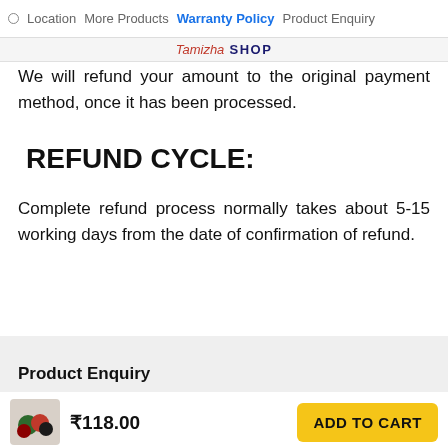o  Location  More Products  Warranty Policy  Product Enquiry
Tamizha SHOP
We will refund your amount to the original payment method, once it has been processed.
REFUND CYCLE:
Complete refund process normally takes about 5-15 working days from the date of confirmation of refund.
Product Enquiry
₹118.00
ADD TO CART